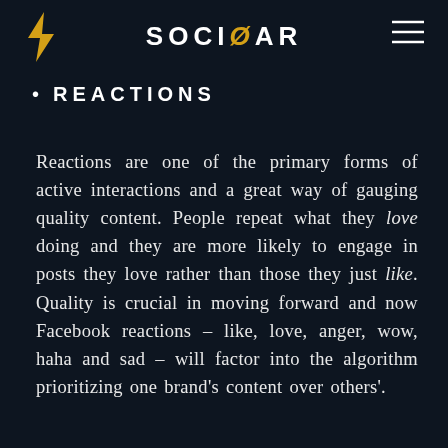SOCIOAR
REACTIONS
Reactions are one of the primary forms of active interactions and a great way of gauging quality content. People repeat what they love doing and they are more likely to engage in posts they love rather than those they just like. Quality is crucial in moving forward and now Facebook reactions – like, love, anger, wow, haha and sad – will factor into the algorithm prioritizing one brand's content over others'.